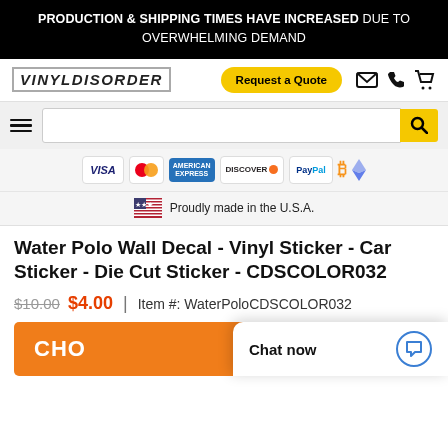PRODUCTION & SHIPPING TIMES HAVE INCREASED DUE TO OVERWHELMING DEMAND
[Figure (logo): VinylDisorder logo text in grunge style]
Request a Quote
Payment icons: VISA, Mastercard, American Express, Discover, PayPal, Bitcoin, Ethereum
Proudly made in the U.S.A.
Water Polo Wall Decal - Vinyl Sticker - Car Sticker - Die Cut Sticker - CDSCOLOR032
$10.00  $4.00  |  Item #: WaterPoloCDSCOLOR032
CHO...  Chat now